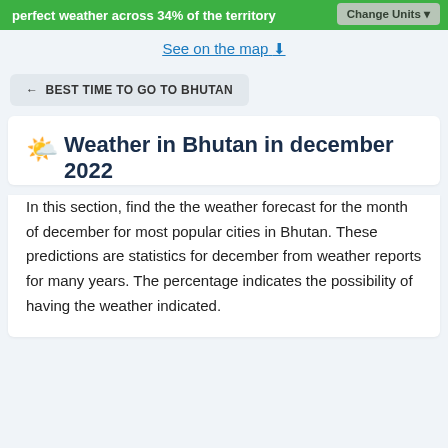perfect weather across 34% of the territory
Change Units
See on the map ↓
← BEST TIME TO GO TO BHUTAN
Weather in Bhutan in december 2022
In this section, find the the weather forecast for the month of december for most popular cities in Bhutan. These predictions are statistics for december from weather reports for many years. The percentage indicates the possibility of having the weather indicated.